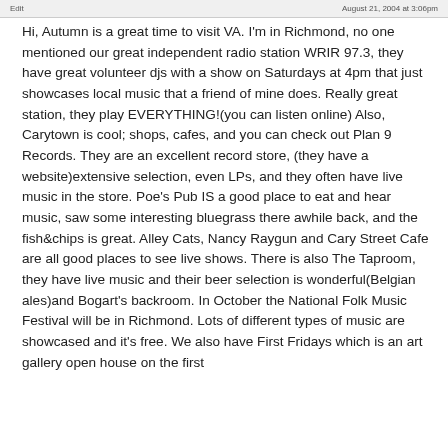Edit | August 21, 2004 at 3:06pm
Hi, Autumn is a great time to visit VA. I'm in Richmond, no one mentioned our great independent radio station WRIR 97.3, they have great volunteer djs with a show on Saturdays at 4pm that just showcases local music that a friend of mine does. Really great station, they play EVERYTHING!(you can listen online) Also, Carytown is cool; shops, cafes, and you can check out Plan 9 Records. They are an excellent record store, (they have a website)extensive selection, even LPs, and they often have live music in the store. Poe's Pub IS a good place to eat and hear music, saw some interesting bluegrass there awhile back, and the fish&chips is great. Alley Cats, Nancy Raygun and Cary Street Cafe are all good places to see live shows. There is also The Taproom, they have live music and their beer selection is wonderful(Belgian ales)and Bogart's backroom. In October the National Folk Music Festival will be in Richmond. Lots of different types of music are showcased and it's free. We also have First Fridays which is an art gallery open house on the first